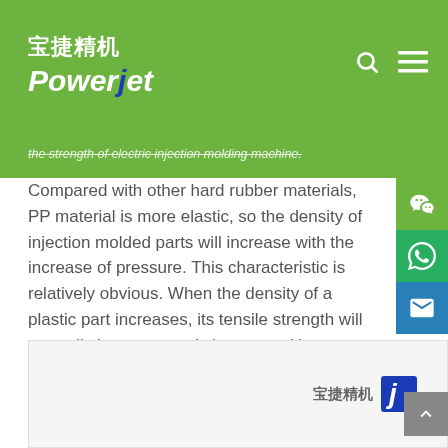宝捷精机 PowerJet
the strength of electric injection molding machine.
Compared with other hard rubber materials, PP material is more elastic, so the density of injection molded parts will increase with the increase of pressure. This characteristic is relatively obvious. When the density of a plastic part increases, its tensile strength will naturally increase, and vice versa. However, when the density increases to a certain value that PP itself can reach, and then increase the pressure, the tensile strength will not continue to increase, but will increase the residual internal stress of the injection molded part, making the injection molded part brittle, so it should be adequate.
[Figure (logo): Powerjet/宝捷精机 logo in bottom image area]